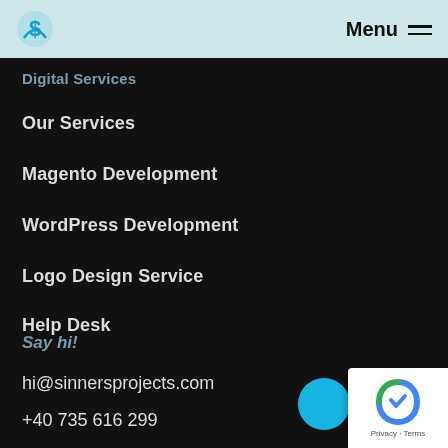Menu
Digital Services
Our Services
Magento Development
WordPress Development
Logo Design Service
Help Desk
Say hi!
hi@sinnersprojects.com
+40 735 616 299
[Figure (logo): reCAPTCHA badge with blue circular logo and Privacy - Terms text]